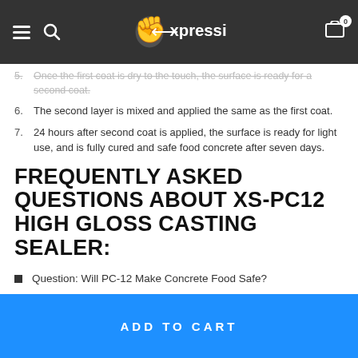Expressions-LTD navigation header
5. Once the first coat is dry to the touch, the surface is ready for a second coat.
6. The second layer is mixed and applied the same as the first coat.
7. 24 hours after second coat is applied, the surface is ready for light use, and is fully cured and safe food concrete after seven days.
FREQUENTLY ASKED QUESTIONS ABOUT XS-PC12 HIGH GLOSS CASTING SEALER:
Question: Will PC-12 Make Concrete Food Safe?
ADD TO CART